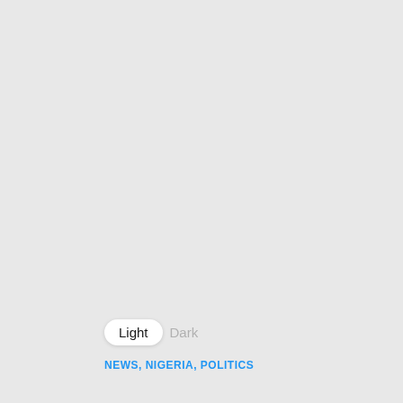[Figure (screenshot): UI toggle between Light and Dark mode, with Light currently selected (white pill button). Below the toggle are category tags reading NEWS, NIGERIA, POLITICS in blue text.]
Light  Dark
NEWS, NIGERIA, POLITICS